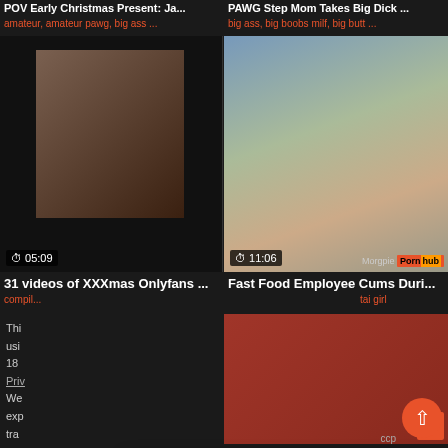POV Early Christmas Present: Ja...
amateur, amateur pawg, big ass ...
PAWG Step Mom Takes Big Dick ...
big ass, big boobs milf, big butt ...
[Figure (screenshot): Video thumbnail showing persons, duration 05:09]
[Figure (screenshot): Video thumbnail showing person on couch, duration 11:06, Pornhub watermark]
31 videos of XXXmas Onlyfans ...
Fast Food Employee Cums Duri...
compil...
tai girl
[Figure (screenshot): Pop-up modal: Helena (23 years) - Live. Jerk off with her Now. Live video stream with play button.]
ccp